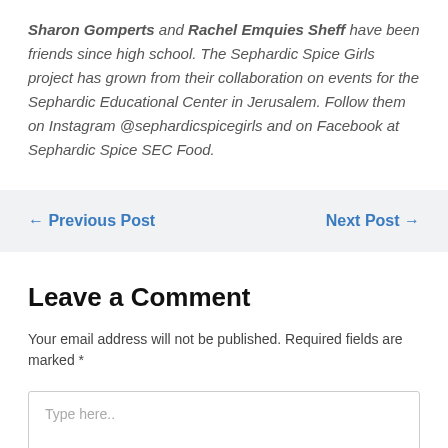Sharon Gomperts and Rachel Emquies Sheff have been friends since high school. The Sephardic Spice Girls project has grown from their collaboration on events for the Sephardic Educational Center in Jerusalem. Follow them on Instagram @sephardicspicegirls and on Facebook at Sephardic Spice SEC Food.
← Previous Post
Next Post →
Leave a Comment
Your email address will not be published. Required fields are marked *
Type here..